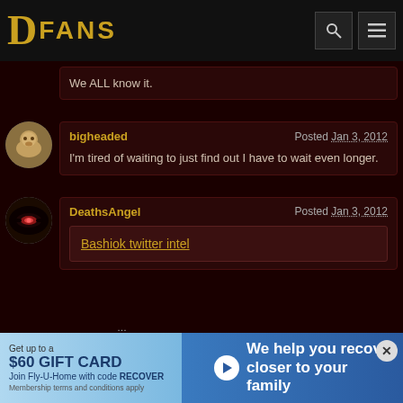DFANS
We ALL know it.
bigheaded — Posted Jan 3, 2012
I'm tired of waiting to just find out I have to wait even longer.
DeathsAngel — Posted Jan 3, 2012
Bashiok twitter intel
[Figure (screenshot): Advertisement banner: Get up to a $60 GIFT CARD — Join Fly-U-Home with code RECOVER — We help you recover closer to your family]